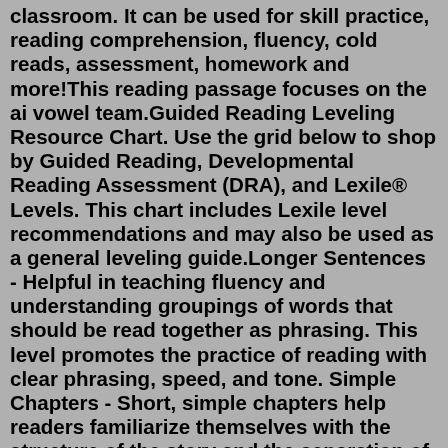classroom. It can be used for skill practice, reading comprehension, fluency, cold reads, assessment, homework and more!This reading passage focuses on the ai vowel team.Guided Reading Leveling Resource Chart. Use the grid below to shop by Guided Reading, Developmental Reading Assessment (DRA), and Lexile® Levels. This chart includes Lexile level recommendations and may also be used as a general leveling guide.Longer Sentences - Helpful in teaching fluency and understanding groupings of words that should be read together as phrasing. This level promotes the practice of reading with clear phrasing, speed, and tone. Simple Chapters - Short, simple chapters help readers familiarize themselves with the structure of the story and the separation of content to better understand.Reading Level Title Author Call Number Page 5 of 23 Q I Have A Dream Martin Luther King, Jr. J323.092 KIN Q I Smell Like Ham Betty Hicks JFIC HICKS Q In The Shadow Of Goll Tony Abbott JPB ABBOTT (SECRETS OF DROON #28) Q Indy 500 · The Inside Track Nancy Roe Pimm